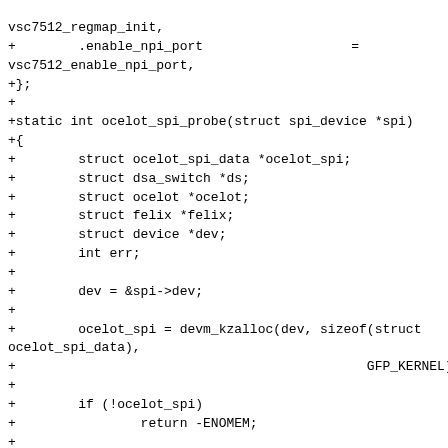vsc7512_regmap_init,
+        .enable_npi_port                   =
vsc7512_enable_npi_port,
+};
+
+static int ocelot_spi_probe(struct spi_device *spi)
+{
+        struct ocelot_spi_data *ocelot_spi;
+        struct dsa_switch *ds;
+        struct ocelot *ocelot;
+        struct felix *felix;
+        struct device *dev;
+        int err;
+
+        dev = &spi->dev;
+
+        ocelot_spi = devm_kzalloc(dev, sizeof(struct
ocelot_spi_data),
+                                              GFP_KERNEL);
+
+        if (!ocelot_spi)
+                return -ENOMEM;
+
+        if (spi->max_speed_hz <= 500000) {
+                ocelot_spi->spi_padding_bytes = 0;
+        } else {
+                /* Calculation taken from the manual
for IF_CFGSTAT:IF_CFG. Err
+                 * on the side of more padding bytes,
as having too few can be